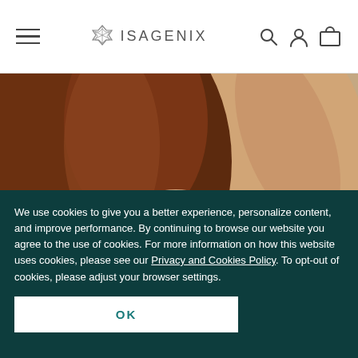ISAGENIX — navigation bar with hamburger menu, logo, search, account, and cart icons
[Figure (photo): Woman with auburn/red hair holding her hair up, photographed against a beige/tan background. Close-up portrait from the waist up.]
We use cookies to give you a better experience, personalize content, and improve performance. By continuing to browse our website you agree to the use of cookies. For more information on how this website uses cookies, please see our Privacy and Cookies Policy. To opt-out of cookies, please adjust your browser settings.
OK